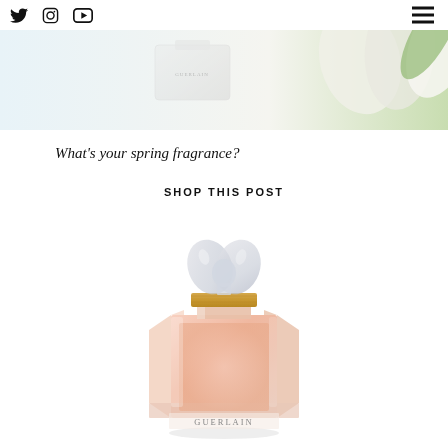Social media icons (Twitter, Instagram, YouTube) and hamburger menu
[Figure (photo): Hero banner image of a Guerlain perfume bottle with a white flower/tulip on a light blue background]
What's your spring fragrance?
SHOP THIS POST
[Figure (photo): Guerlain Mon Guerlain perfume bottle — octagonal faceted clear glass with pink/peach liquid, ornate gold cap with butterfly finial, labeled GUERLAIN at the base]